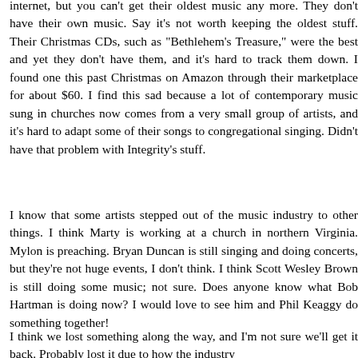internet, but you can't get their oldest music any more. They don't have their own music. Say it's not worth keeping the oldest stuff. Their Christmas CDs, such as "Bethlehem's Treasure," were the best and yet they don't have them, and it's hard to track them down. I found one this past Christmas on Amazon through their marketplace for about $60. I find this sad because a lot of contemporary music sung in churches now comes from a very small group of artists, and it's hard to adapt some of their songs to congregational singing. Didn't have that problem with Integrity's stuff.
I know that some artists stepped out of the music industry to other things. I think Marty is working at a church in northern Virginia. Mylon is preaching. Bryan Duncan is still singing and doing concerts, but they're not huge events, I don't think. I think Scott Wesley Brown is still doing some music; not sure. Does anyone know what Bob Hartman is doing now? I would love to see him and Phil Keaggy do something together!
I think we lost something along the way, and I'm not sure we'll get it back. Probably lost it due to how the industry